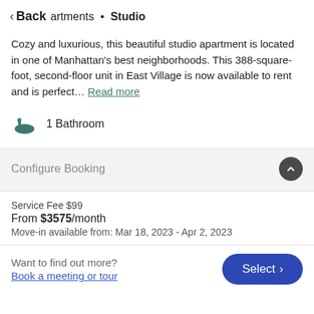< Back  artments • Studio
Cozy and luxurious, this beautiful studio apartment is located in one of Manhattan's best neighborhoods. This 388-square-foot, second-floor unit in East Village is now available to rent and is perfect… Read more
1 Bathroom
Configure Booking
Service Fee $99
From $3575/month
Move-in available from: Mar 18, 2023 - Apr 2, 2023
Want to find out more?
Book a meeting or tour
Select >